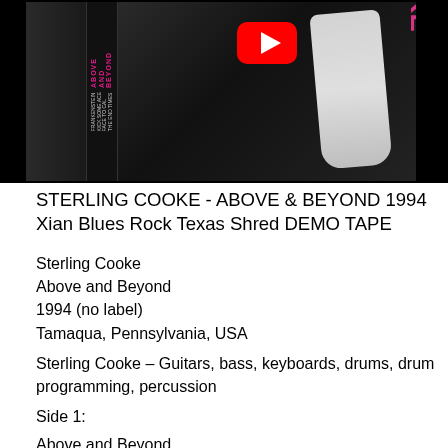[Figure (photo): Cassette tape cover for Sterling Cooke - Above & Beyond, showing a white guitar against dark background with pink/magenta text, YouTube logo overlay visible]
STERLING COOKE - ABOVE & BEYOND 1994 Xian Blues Rock Texas Shred DEMO TAPE
Sterling Cooke
Above and Beyond
1994 (no label)
Tamaqua, Pennsylvania, USA
Sterling Cooke – Guitars, bass, keyboards, drums, drum programming, percussion
Side 1:
Above and Beyond